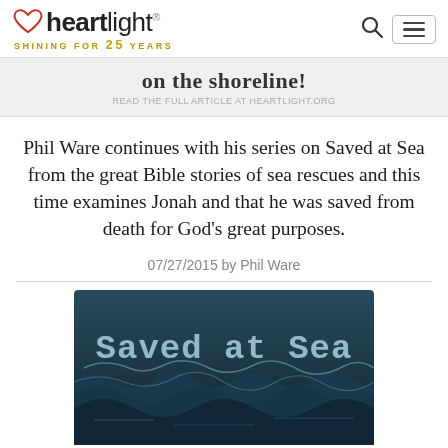heartlight® SHINING FOR 25 YEARS
on the shoreline!
Phil Ware continues with his series on Saved at Sea from the great Bible stories of sea rescues and this time examines Jonah and that he was saved from death for God's great purposes.
07/27/2015 by Phil Ware
[Figure (illustration): Ocean waves with overlaid text reading 'Saved at Sea' in a typewriter-style font against a dark stormy sea background.]